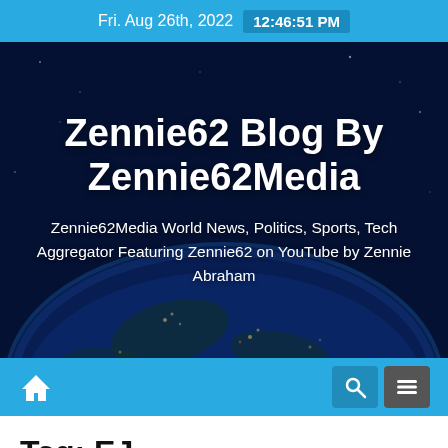Fri. Aug 26th, 2022  12:46:51 PM
Zennie62 Blog By Zennie62Media
Zennie62Media World News, Politics, Sports, Tech Aggregator Featuring Zennie62 on YouTube by Zennie Abraham
Tag: EJ